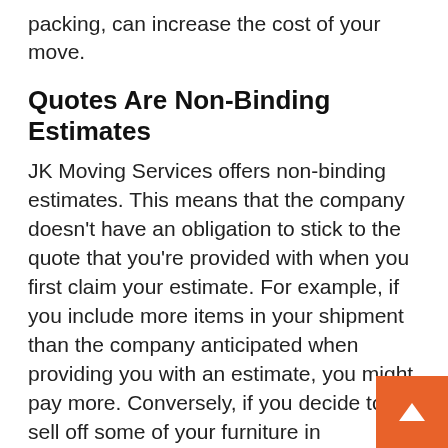packing, can increase the cost of your move.
Quotes Are Non-Binding Estimates
JK Moving Services offers non-binding estimates. This means that the company doesn't have an obligation to stick to the quote that you're provided with when you first claim your estimate. For example, if you include more items in your shipment than the company anticipated when providing you with an estimate, you might pay more. Conversely, if you decide to sell off some of your furniture in preparation for a recent move, you might pay less than your estimate.
If you're preparing for a move and you're on a tight budget, you may want to choose a company that offers binding estimates or a flat rate when calculating your expenses. On the other hand, if you aren't sure how much furniture that you want to